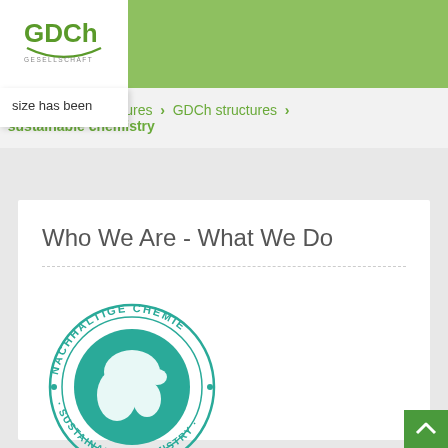[Figure (logo): GDCh (Gesellschaft Deutscher Chemiker) logo with white background in top-left navigation]
size has been
rk & structures > GDCh structures > sustainable chemistry
Who We Are - What We Do
[Figure (logo): Circular seal/logo with globe illustration and text 'NACHHALTIGE CHEMIE · SUSTAINABLE CHEMISTRY' in teal/green color]